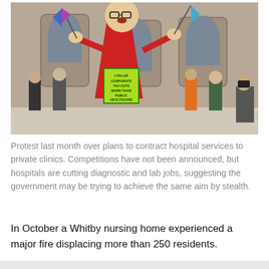[Figure (photo): Protest scene with a large puppet/effigy figure dressed in red holding signs saying 'I VALUE CORPORATE TAX CUTS MORE THAN PUBLIC HEALTHCARE', surrounded by protesters with flags outside a stone building.]
Protest last month over plans to contract hospital services to private clinics. Competitions have not been announced, but hospitals are cutting diagnostic and lab jobs, suggesting the government may be trying to achieve the same aim by stealth.
In October a Whitby nursing home experienced a major fire displacing more than 250 residents.